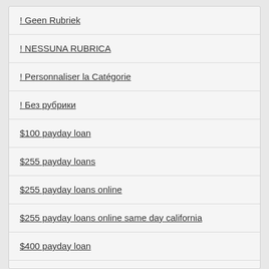! Geen Rubriek
! NESSUNA RUBRICA
! Personnaliser la Catégorie
! Без рубрики
$100 payday loan
$255 payday loans
$255 payday loans online
$255 payday loans online same day california
$400 payday loan
$50 payday loan
1